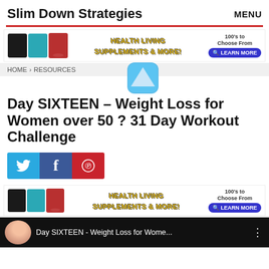Slim Down Strategies    MENU
[Figure (screenshot): Advertisement banner for Health Living Supplements with product images and Learn More button]
HOME > RESOURCES
[Figure (illustration): Blue rounded square icon with upward pointing triangle arrow]
Day SIXTEEN – Weight Loss for Women over 50 ? 31 Day Workout Challenge
[Figure (screenshot): Social share buttons: Twitter (bird), Facebook (f), Pinterest (p)]
[Figure (screenshot): Second advertisement banner for Health Living Supplements]
[Figure (screenshot): Video player bar showing Day SIXTEEN - Weight Loss for Wome... with thumbnail and menu dots]